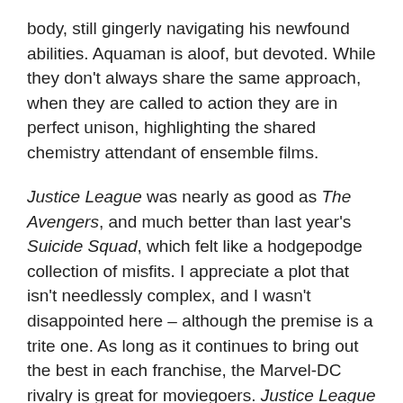body, still gingerly navigating his newfound abilities. Aquaman is aloof, but devoted. While they don't always share the same approach, when they are called to action they are in perfect unison, highlighting the shared chemistry attendant of ensemble films.
Justice League was nearly as good as The Avengers, and much better than last year's Suicide Squad, which felt like a hodgepodge collection of misfits. I appreciate a plot that isn't needlessly complex, and I wasn't disappointed here – although the premise is a trite one. As long as it continues to bring out the best in each franchise, the Marvel-DC rivalry is great for moviegoers. Justice League was simple, yet funny and entertaining. I can't say unequivocally that one character stole the show, which is a testament to the shared star power on screen. There were no weak links,